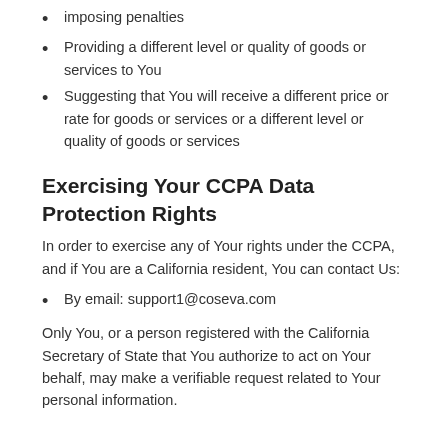imposing penalties
Providing a different level or quality of goods or services to You
Suggesting that You will receive a different price or rate for goods or services or a different level or quality of goods or services
Exercising Your CCPA Data Protection Rights
In order to exercise any of Your rights under the CCPA, and if You are a California resident, You can contact Us:
By email: support1@coseva.com
Only You, or a person registered with the California Secretary of State that You authorize to act on Your behalf, may make a verifiable request related to Your personal information.